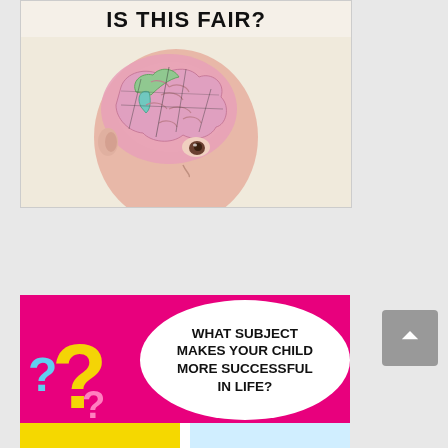[Figure (illustration): Infographic showing a child with a colorful brain diagram overlay and bold text 'IS THIS FAIR?' at the top, on a beige/cream background.]
[Figure (infographic): Bright pink infographic with question marks (yellow, cyan, pink) on the left, a white speech-bubble circle on the right with bold text 'WHAT SUBJECT MAKES YOUR CHILD MORE SUCCESSFUL IN LIFE?', and a yellow and light-blue strip at the bottom.]